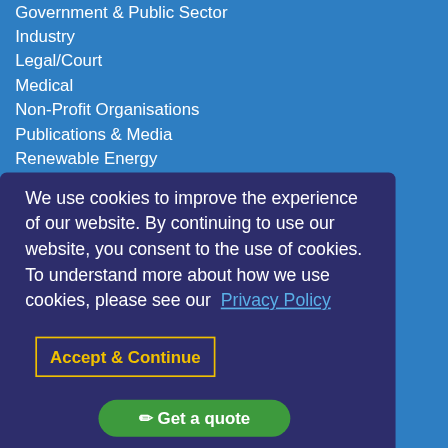Government & Public Sector
Industry
Legal/Court
Medical
Non-Profit Organisations
Publications & Media
Renewable Energy
We use cookies to improve the experience of our website. By continuing to use our website, you consent to the use of cookies. To understand more about how we use cookies, please see our Privacy Policy
Accept & Continue
✏ Get a quote
Education